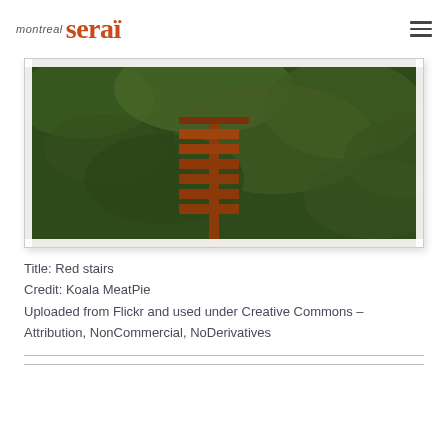montreal serai
[Figure (photo): Photograph showing red stairs or a red structure against a green leafy background, displayed in a white bordered frame with shadow]
Title: Red stairs
Credit: Koala MeatPie
Uploaded from Flickr and used under Creative Commons – Attribution, NonCommercial, NoDerivatives